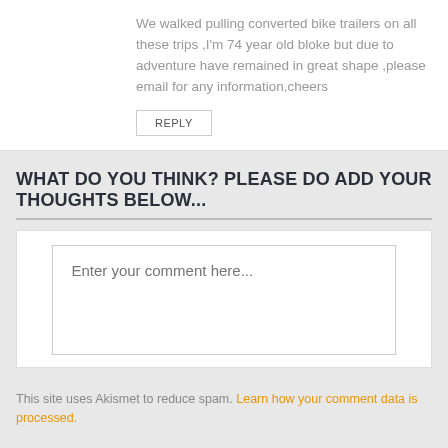We walked pulling converted bike trailers on all these trips ,I'm 74 year old bloke but due to adventure have remained in great shape ,please email for any information,cheers
REPLY
WHAT DO YOU THINK? PLEASE DO ADD YOUR THOUGHTS BELOW...
Enter your comment here...
This site uses Akismet to reduce spam. Learn how your comment data is processed.